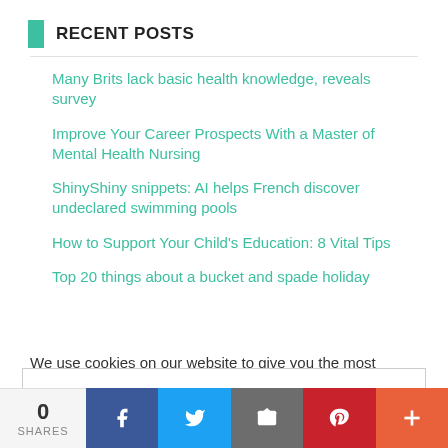RECENT POSTS
Many Brits lack basic health knowledge, reveals survey
Improve Your Career Prospects With a Master of Mental Health Nursing
ShinyShiny snippets: AI helps French discover undeclared swimming pools
How to Support Your Child’s Education: 8 Vital Tips
Top 20 things about a bucket and spade holiday
We use cookies on our website to give you the most relevant
Privacy & Cookies: This site uses cookies. By continuing to use this website, you agree to their use. To find out more, including how to control cookies, see here: Cookie Policy